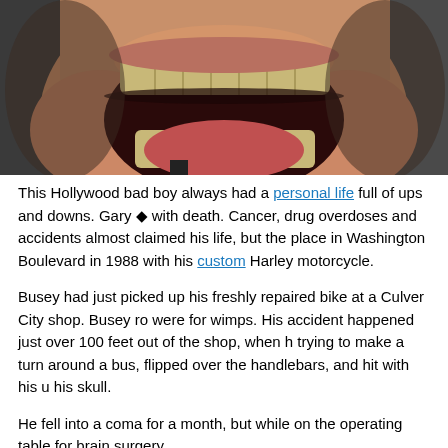[Figure (photo): Close-up photo of a man with mouth wide open showing teeth, wearing a dark suit jacket, appearing to be laughing or shouting.]
This Hollywood bad boy always had a personal life full of ups and downs. Gary ◆ with death. Cancer, drug overdoses and accidents almost claimed his life, but the place in Washington Boulevard in 1988 with his custom Harley motorcycle.
Busey had just picked up his freshly repaired bike at a Culver City shop. Busey ro were for wimps. His accident happened just over 100 feet out of the shop, when h trying to make a turn around a bus, flipped over the handlebars, and hit with his u his skull.
He fell into a coma for a month, but while on the operating table for brain surgery